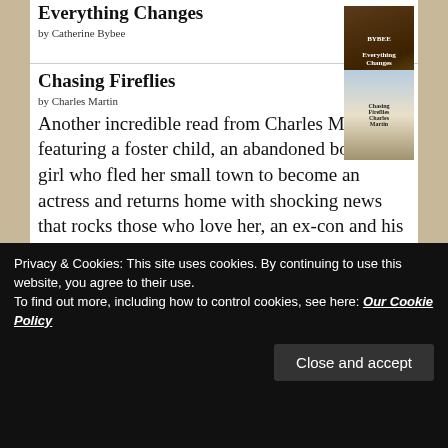Everything Changes
by Catherine Bybee
Chasing Fireflies
by Charles Martin
Another incredible read from Charles Martin featuring a foster child, an abandoned boy, a girl who fled her small town to become an actress and returns home with shocking news that rocks those who love her, an ex-con and his wife who are…
Down Where My Love Lives
Privacy & Cookies: This site uses cookies. By continuing to use this website, you agree to their use. To find out more, including how to control cookies, see here: Our Cookie Policy
Close and accept
teacher/farmer and a sheriff...